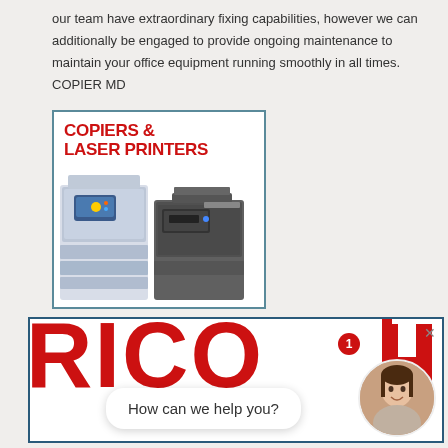our team have extraordinary fixing capabilities, however we can additionally be engaged to provide ongoing maintenance to maintain your office equipment running smoothly in all times. COPIER MD
[Figure (illustration): Advertisement box with red bold text 'COPIERS & LASER PRINTERS' and image of office copier machines on white background with teal border]
[Figure (screenshot): Ricoh brand banner with large red RICOH logo text, a chat bubble saying 'How can we help you?', a notification dot with number 1, a female avatar photo, and a close X button, on white background with teal border]